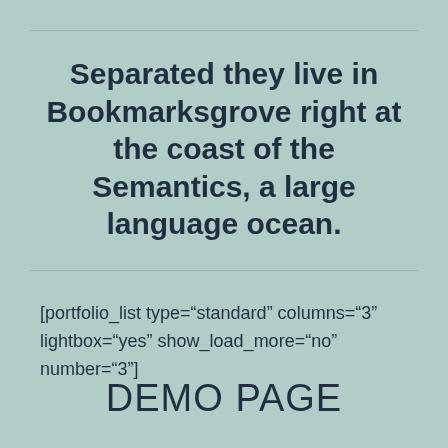Separated they live in Bookmarksgrove right at the coast of the Semantics, a large language ocean.
[portfolio_list type="standard" columns="3" lightbox="yes" show_load_more="no" number="3"]
DEMO PAGE